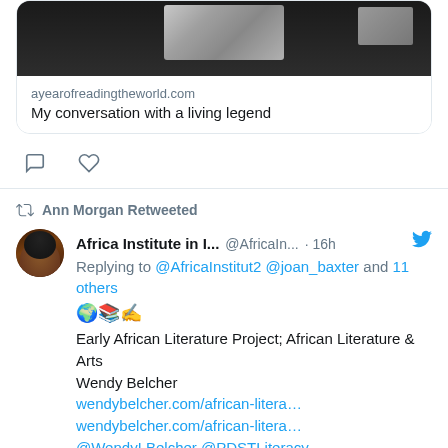[Figure (screenshot): Twitter/social media screenshot showing a link preview card with an image from a video call, URL ayearofreadingtheworld.com, and title 'My conversation with a living legend']
ayearofreadingtheworld.com
My conversation with a living legend
Ann Morgan Retweeted
Africa Institute in I... @AfricaIn... · 16h
Replying to @AfricaInstitut2 @joan_baxter and 11 others
🌍📚✍️
Early African Literature Project; African Literature & Arts
Wendy Belcher
wendybelcher.com/african-litera…
wendybelcher.com/african-litera…
@WendyLBelcher @PDSTLiteracy
@colmjoconnor @mahlephula @susanl_author
@CauveryMadhavan @AWC_2022
@VCerildas @PuertlandW @BECIBG